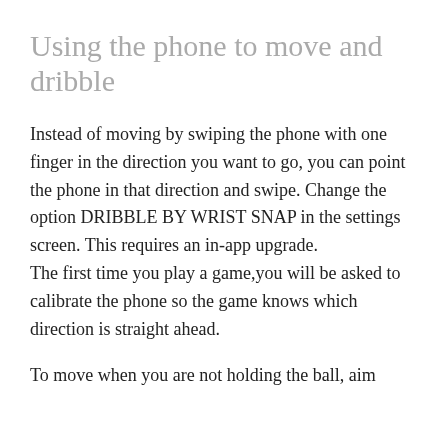Using the phone to move and dribble
Instead of moving by swiping the phone with one finger in the direction you want to go, you can point the phone in that direction and swipe. Change the option DRIBBLE BY WRIST SNAP in the settings screen. This requires an in-app upgrade.
The first time you play a game,you will be asked to calibrate the phone so the game knows which direction is straight ahead.
To move when you are not holding the ball, aim